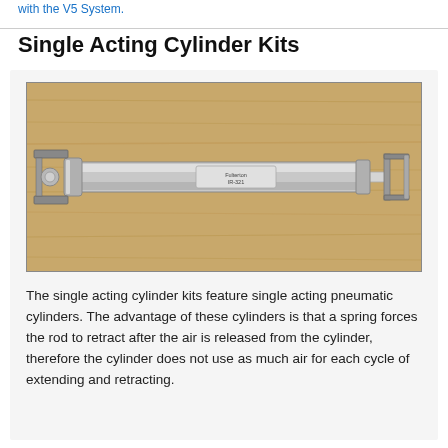with the V5 System.
Single Acting Cylinder Kits
[Figure (photo): A single acting pneumatic cylinder photographed on a wooden surface. The cylinder is silver/metallic with mounting brackets on both ends and a label in the middle.]
The single acting cylinder kits feature single acting pneumatic cylinders. The advantage of these cylinders is that a spring forces the rod to retract after the air is released from the cylinder, therefore the cylinder does not use as much air for each cycle of extending and retracting.